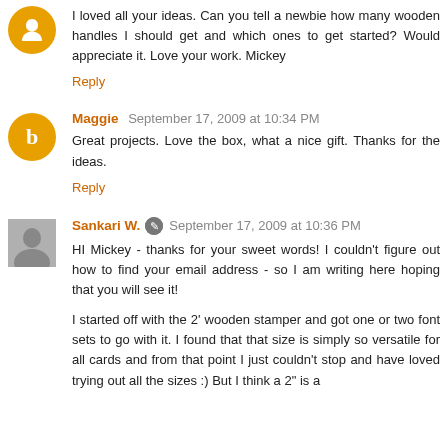I loved all your ideas. Can you tell a newbie how many wooden handles I should get and which ones to get started? Would appreciate it. Love your work. Mickey
Reply
Maggie  September 17, 2009 at 10:34 PM
Great projects. Love the box, what a nice gift. Thanks for the ideas.
Reply
Sankari W.  September 17, 2009 at 10:36 PM
HI Mickey - thanks for your sweet words! I couldn't figure out how to find your email address - so I am writing here hoping that you will see it!
I started off with the 2' wooden stamper and got one or two font sets to go with it. I found that that size is simply so versatile for all cards and from that point I just couldn't stop and have loved trying out all the sizes :) But I think a 2" is a